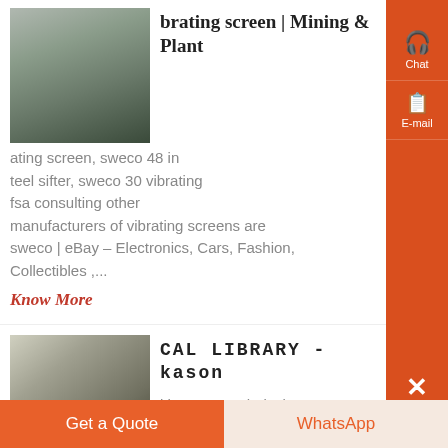[Figure (photo): Industrial machinery with workers, outdoor factory setting]
brating screen | Mining & Plant
ating screen, sweco 48 in teel sifter, sweco 30 vibrating fsa consulting other manufacturers of vibrating screens are sweco | eBay – Electronics, Cars, Fashion, Collectibles ,...
Know More
[Figure (photo): Industrial warehouse interior with equipment]
CAL LIBRARY - kason
ith Kason technical ative Bernie Petrone, of Southern uinment Co. Kowalski installed